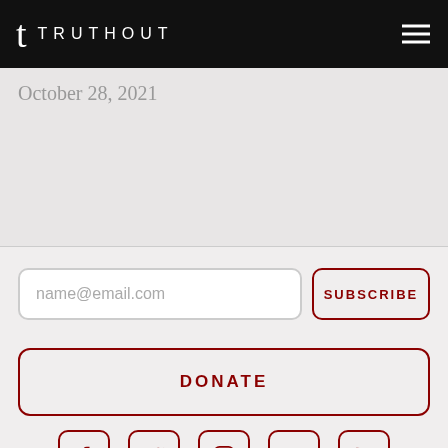TRUTHOUT
October 28, 2021
[Figure (other): Email subscription input field with placeholder 'name@email.com' and SUBSCRIBE button]
[Figure (other): DONATE button]
[Figure (other): Social media icons: Facebook, Twitter, Instagram, YouTube, RSS feed]